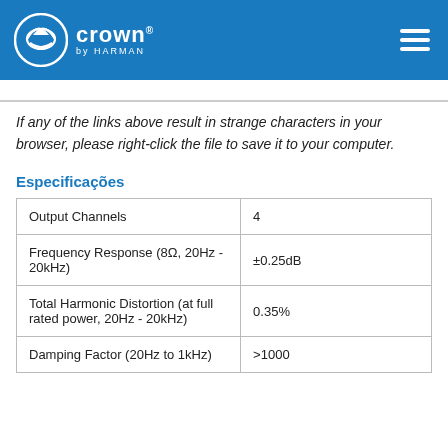Crown by Harman
If any of the links above result in strange characters in your browser, please right-click the file to save it to your computer.
Especificações
|  |  |
| --- | --- |
| Output Channels | 4 |
| Frequency Response (8Ω, 20Hz - 20kHz) | ±0.25dB |
| Total Harmonic Distortion (at full rated power, 20Hz - 20kHz) | 0.35% |
| Damping Factor (20Hz to ... | >1000 |